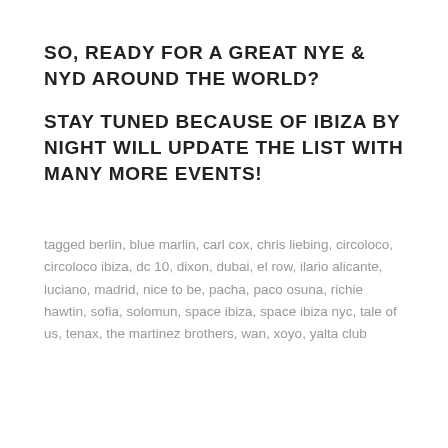SO, READY FOR A GREAT NYE & NYD AROUND THE WORLD?
STAY TUNED BECAUSE OF IBIZA BY NIGHT WILL UPDATE THE LIST WITH MANY MORE EVENTS!
tagged berlin, blue marlin, carl cox, chris liebing, circoloco, circoloco ibiza, dc 10, dixon, dubai, el row, ilario alicante, luciano, madrid, nice to be, pacha, paco osuna, richie hawtin, sofia, solomun, space ibiza, space ibiza nyc, tale of us, tenax, the martinez brothers, wan, xoyo, yalta club